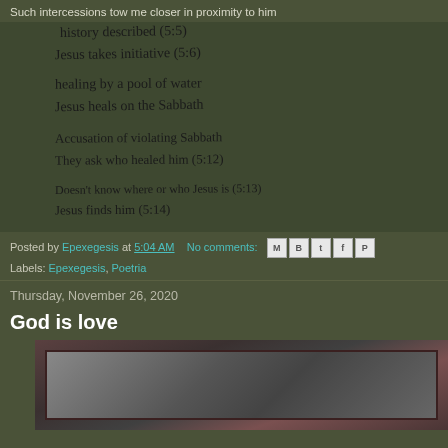Such intercessions tow me closer in proximity to him
[Figure (photo): Handwritten notes on dark board listing Bible study notes: history described (5:5), Jesus takes initiative (5:6), healing by a pool of water, Jesus heals on the Sabbath, Accusation of violating Sabbath, They ask who healed him (5:12), Doesn't know where or who Jesus is (5:13), Jesus finds him (5:14), Sin + Suffering]
Posted by Epexegesis at 5:04 AM    No comments:
Labels: Epexegesis, Poetria
Thursday, November 26, 2020
God is love
[Figure (photo): Close-up photo of what appears to be a dark metallic or wooden cross, with reddish-brown and grey tones, partially cropped at the bottom of the page]